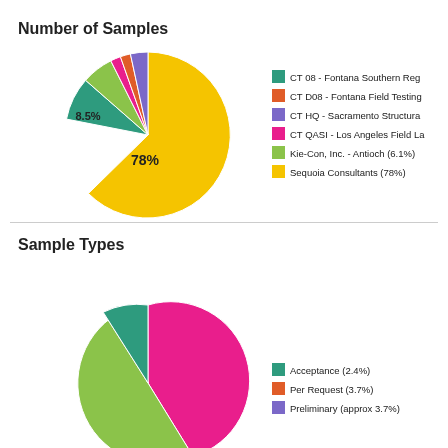[Figure (pie-chart): Number of Samples]
[Figure (pie-chart): Sample Types]